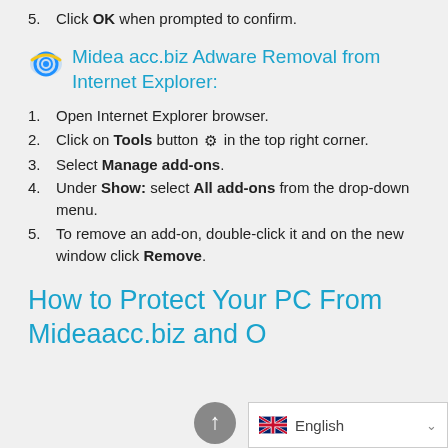5. Click OK when prompted to confirm.
Midea acc.biz Adware Removal from Internet Explorer:
1. Open Internet Explorer browser.
2. Click on Tools button ⚙ in the top right corner.
3. Select Manage add-ons.
4. Under Show: select All add-ons from the drop-down menu.
5. To remove an add-on, double-click it and on the new window click Remove.
How to Protect Your PC From Mideaacc.biz and O…